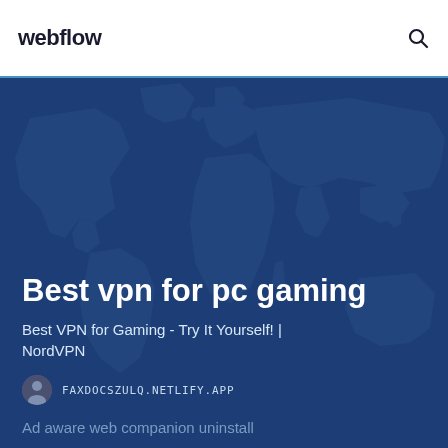webflow
[Figure (illustration): World map illustration in dark blue tones as hero background]
Best vpn for pc gaming
Best VPN for Gaming - Try It Yourself! | NordVPN
FAXDOCSZULQ.NETLIFY.APP
Ad aware web companion uninstall